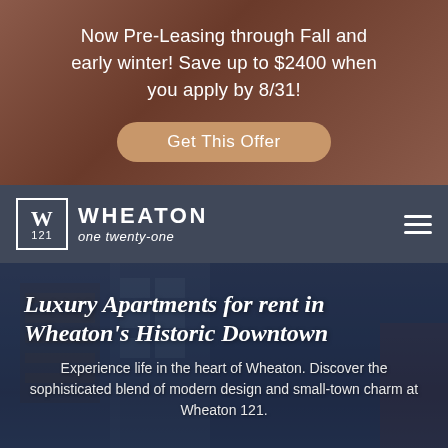Now Pre-Leasing through Fall and early winter! Save up to $2400 when you apply by 8/31!
Get This Offer
[Figure (logo): Wheaton 121 logo with W/121 box icon and text 'WHEATON one twenty-one']
Luxury Apartments for rent in Wheaton's Historic Downtown
Experience life in the heart of Wheaton. Discover the sophisticated blend of modern design and small-town charm at Wheaton 121.